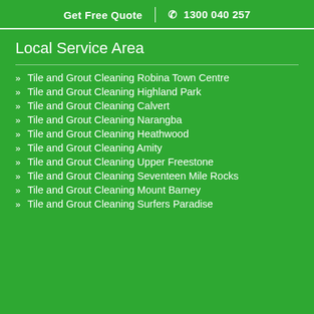Get Free Quote | 1300 040 257
Local Service Area
Tile and Grout Cleaning Robina Town Centre
Tile and Grout Cleaning Highland Park
Tile and Grout Cleaning Calvert
Tile and Grout Cleaning Narangba
Tile and Grout Cleaning Heathwood
Tile and Grout Cleaning Amity
Tile and Grout Cleaning Upper Freestone
Tile and Grout Cleaning Seventeen Mile Rocks
Tile and Grout Cleaning Mount Barney
Tile and Grout Cleaning Surfers Paradise